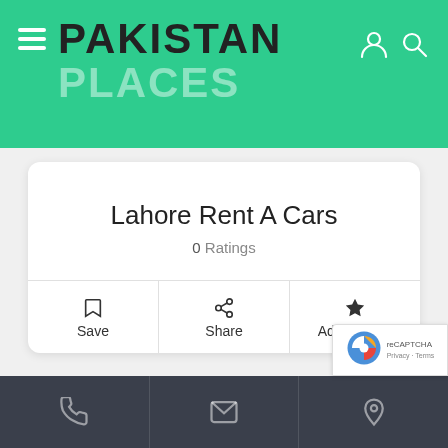[Figure (screenshot): Pakistan Places website header with green background, hamburger menu, logo text 'PAKISTAN PLACES', and user/search icons]
Lahore Rent A Cars
0 Ratings
Save
Share
Add Review
Open Now~
+ Show More
[Figure (screenshot): Bottom navigation bar with phone, email, and location icons on dark background, with reCAPTCHA badge]